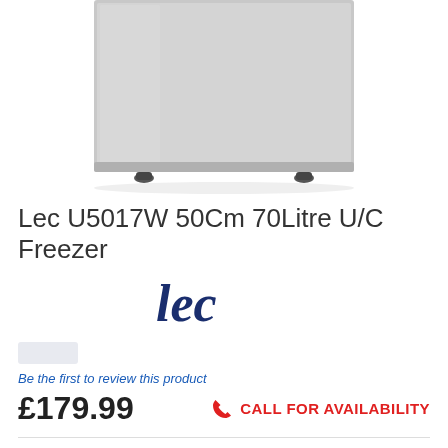[Figure (photo): Bottom portion of a silver/white under-counter freezer appliance on white background, showing the lower door panel and two small feet/castors.]
Lec U5017W 50Cm 70Litre U/C Freezer
[Figure (logo): Lec brand logo in dark navy blue italic serif font.]
Be the first to review this product
£179.99
CALL FOR AVAILABILITY